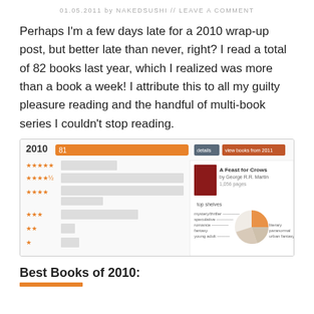01.05.2011 by NAKEDSUSHI // LEAVE A COMMENT
Perhaps I'm a few days late for a 2010 wrap-up post, but better late than never, right? I read a total of 82 books last year, which I realized was more than a book a week!  I attribute this to all my guilty pleasure reading and the handful of multi-book series I couldn't stop reading.
[Figure (screenshot): Goodreads 2010 reading stats screenshot showing 81 books read with star ratings distribution and book covers, plus a featured book 'A Feast for Crows' by George R.R. Martin and a genre pie chart.]
Best Books of 2010: